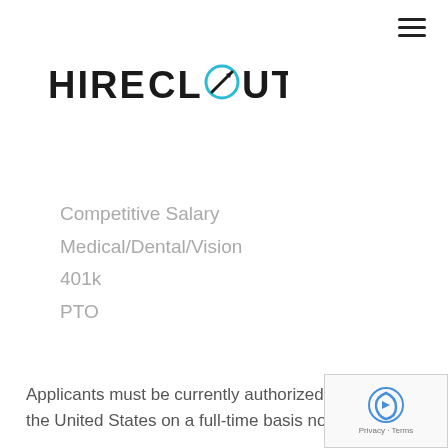[Figure (logo): HireClout logo with stylized compass/slash icon replacing the 'O' in CLOUT, in teal/cyan color]
Competitive Salary
Medical/Dental/Vision
401k
PTO
Applicants must be currently authorized to work in the United States on a full-time basis now and…